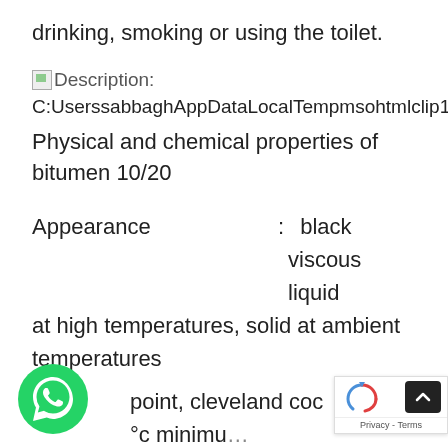drinking, smoking or using the toilet.
Description: C:UserssabbaghAppDataLocalTempmsohtmlclip1◆1clip_image001.gif
Physical and chemical properties of bitumen 10/20
Appearance : black viscous liquid at high temperatures, solid at ambient temperatures
point, cleveland coc : 250 °c minimum